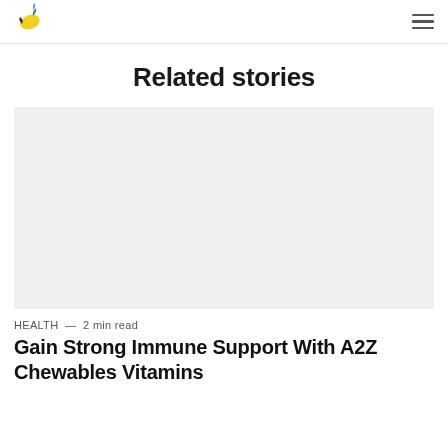Logo and navigation
Related stories
[Figure (photo): Light grey placeholder image area for article thumbnail]
HEALTH  —  2 min read
Gain Strong Immune Support With A2Z Chewables Vitamins